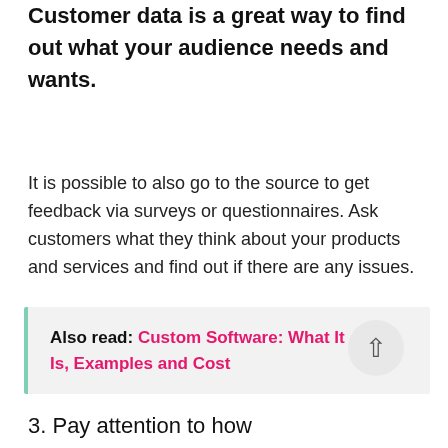Customer data is a great way to find out what your audience needs and wants.
It is possible to also go to the source to get feedback via surveys or questionnaires. Ask customers what they think about your products and services and find out if there are any issues.
Also read: Custom Software: What It Is, Examples and Cost
3. Pay attention to how